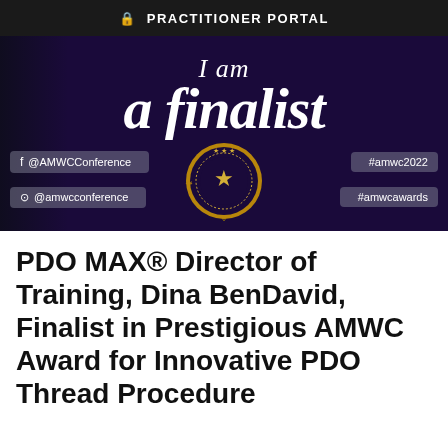PRACTITIONER PORTAL
[Figure (photo): Dark purple banner image with italic serif text reading 'I am a finalist', a gold medal/crest emblem in the center, and social media handles for @AMWCConference and @amwcconference on the left, and hashtags #amwc2022 and #amwcawards on the right.]
PDO MAX® Director of Training, Dina BenDavid, Finalist in Prestigious AMWC Award for Innovative PDO Thread Procedure